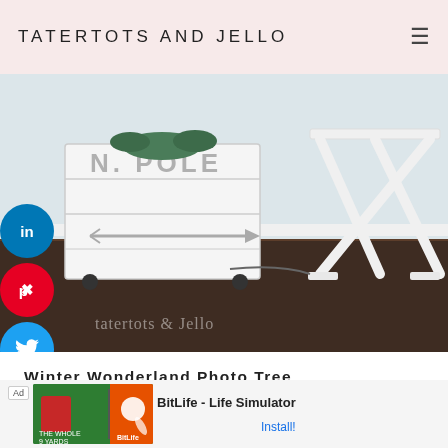TATERTOTS AND JELLO
[Figure (photo): Photo of a white painted wooden crate with 'N. POLE' stenciled text and arrow decoration, on dark wood floor, with a white X-leg side table in the background. Social sharing buttons (LinkedIn, Pinterest, Twitter) on the left side. Watermark 'tatertots & Jello' at the bottom.]
Winter Wonderland Photo Tree
Plus,
From now until November 14, you can get FREE shipping on all Christmas trees that are 6ft or taller
[Figure (screenshot): Ad banner: 'The Whole 9 Yards' and 'BitLife - Life Simulator' install advertisement]